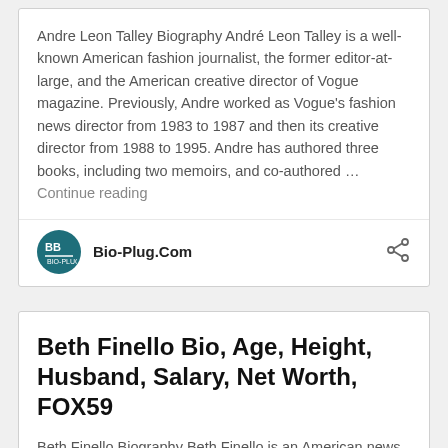Andre Leon Talley Biography André Leon Talley is a well-known American fashion journalist, the former editor-at-large, and the American creative director of Vogue magazine. Previously, Andre worked as Vogue's fashion news director from 1983 to 1987 and then its creative director from 1988 to 1995. Andre has authored three books, including two memoirs, and co-authored … Continue reading
Bio-Plug.Com
Beth Finello Bio, Age, Height, Husband, Salary, Net Worth, FOX59
Beth Finello Biography Beth Finello is an American news personality presently working for FOX59 and CBS4Indy as a meteorologist. Before, Beth served at KOLR10 News as the weekend meteorologist in Springfield, Missouri. Beth Finello